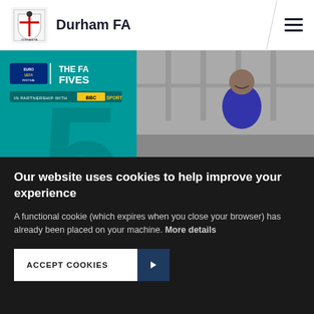Durham FA
[Figure (photo): Hero banner showing an FA Fives promotional image: teal background on the left with UEFA Festival and The FA Fives logos and 'IN PARTNERSHIP WITH BBC SPORT', and on the right a smiling woman in a purple football shirt on a pitch with 'SIGN UP NOW' text visible at the bottom]
Our website uses cookies to help improve your experience
A functional cookie (which expires when you close your browser) has already been placed on your machine. More details
ACCEPT COOKIES